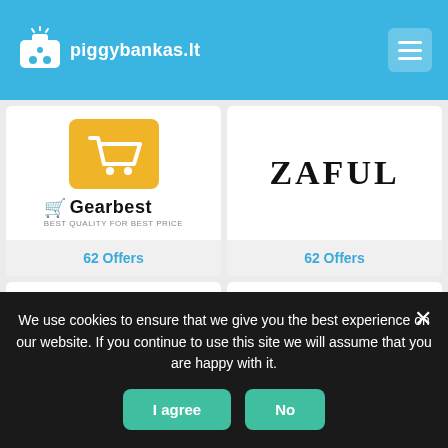piggybankas.lt
[Figure (logo): Gearbest logo with yellow shopping cart icon and brand name]
62 Offers
[Figure (logo): ZAFUL brand name in serif bold letters]
62 Offers
[Figure (logo): HQhair & beauty brand logo in bold italic]
47 Offers
[Figure (logo): ROSEGAL brand logo with ROSE in pink and GAL in black]
45 Offers
We use cookies to ensure that we give you the best experience on our website. If you continue to use this site we will assume that you are happy with it.